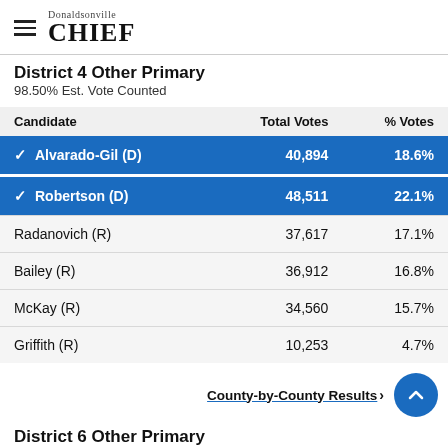Donaldsonville CHIEF
District 4 Other Primary
98.50% Est. Vote Counted
| Candidate | Total Votes | % Votes |
| --- | --- | --- |
| ✓ Alvarado-Gil (D) | 40,894 | 18.6% |
| ✓ Robertson (D) | 48,511 | 22.1% |
| Radanovich (R) | 37,617 | 17.1% |
| Bailey (R) | 36,912 | 16.8% |
| McKay (R) | 34,560 | 15.7% |
| Griffith (R) | 10,253 | 4.7% |
County-by-County Results ›
District 6 Other Primary